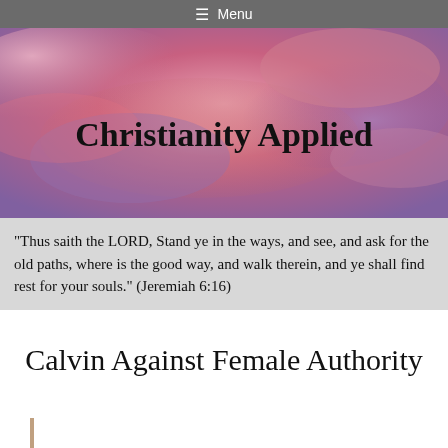☰ Menu
[Figure (photo): Colorful sky with red, pink, and purple clouds. The text 'Christianity Applied' is overlaid in large bold serif font.]
"Thus saith the LORD, Stand ye in the ways, and see, and ask for the old paths, where is the good way, and walk therein, and ye shall find rest for your souls." (Jeremiah 6:16)
Calvin Against Female Authority